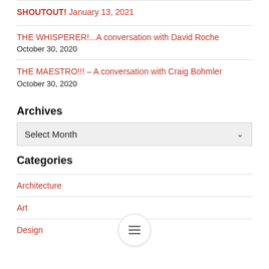SHOUTOUT! January 13, 2021
THE WHISPERER!...A conversation with David Roche
October 30, 2020
THE MAESTRO!!! – A conversation with Craig Bohmler
October 30, 2020
Archives
Select Month
Categories
Architecture
Art
Design